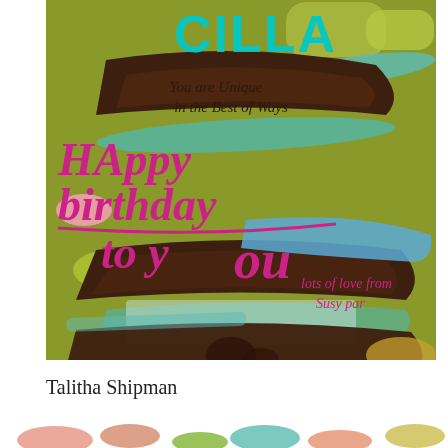[Figure (illustration): Birthday card illustration with olive/yellow-green background. Abstract collage of layered shapes in dark brown, teal, light blue, pink, and yellow. Text on card reads: 'CILLA' in large teal letters at top, 'You are Unique in the Best of Ways' in dark handwritten script, 'HAPPY birthday to You' in large magenta/pink handwritten text, 'lots of love from Susy par' in smaller magenta script.]
Talitha Shipman
[Figure (illustration): Bottom strip showing partial view of another colorful illustration with pink, coral, green and teal abstract shapes.]